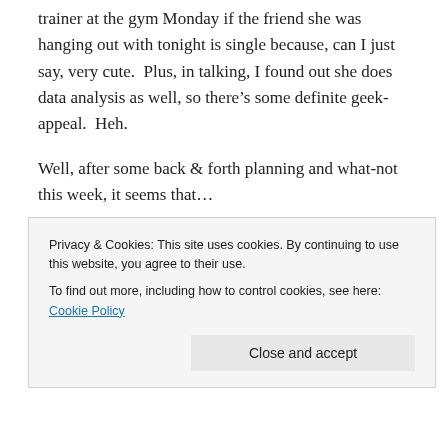trainer at the gym Monday if the friend she was hanging out with tonight is single because, can I just say, very cute.  Plus, in talking, I found out she does data analysis as well, so there’s some definite geek-appeal.  Heh.
Well, after some back & forth planning and what-not this week, it seems that…
wait for it…
wait for it…
I’ve talked about it before, and now it turns out: I’ll be
Privacy & Cookies: This site uses cookies. By continuing to use this website, you agree to their use.
To find out more, including how to control cookies, see here: Cookie Policy
Close and accept